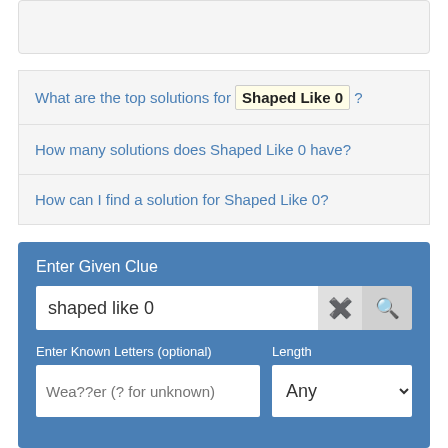[Figure (screenshot): Empty gray box at the top of the page]
What are the top solutions for Shaped Like 0 ?
How many solutions does Shaped Like 0 have?
How can I find a solution for Shaped Like 0?
Enter Given Clue
shaped like 0
Enter Known Letters (optional)
Length
Wea??er (? for unknown)
Any